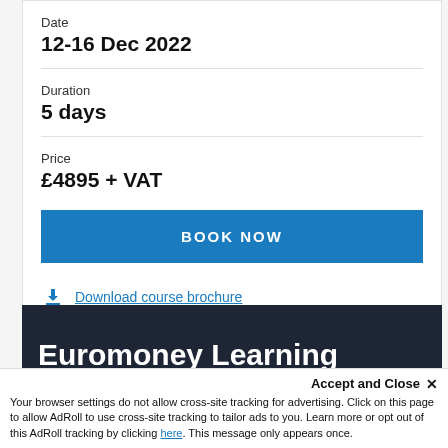Date
12-16 Dec 2022
Duration
5 days
Price
£4895 + VAT
BOOK NOW
Download course brochure
Arrange a call back
Euromoney Learning
Accept and Close ✕
Your browser settings do not allow cross-site tracking for advertising. Click on this page to allow AdRoll to use cross-site tracking to tailor ads to you. Learn more or opt out of this AdRoll tracking by clicking here. This message only appears once.